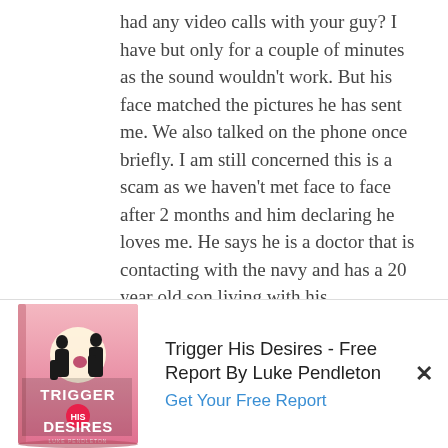had any video calls with your guy? I have but only for a couple of minutes as the sound wouldn't work. But his face matched the pictures he has sent me. We also talked on the phone once briefly. I am still concerned this is a scam as we haven't met face to face after 2 months and him declaring he loves me. He says he is a doctor that is contacting with the navy and has a 20 year old son living with his grandmother in the US and going to
[Figure (illustration): Book cover for 'Trigger His Desires' by Luke Pendleton, showing silhouettes of a man and woman on a pink/sunset background]
Trigger His Desires - Free Report By Luke Pendleton
Get Your Free Report